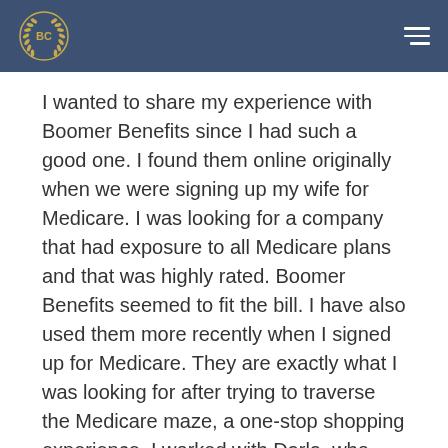BC [logo] [hamburger menu]
I wanted to share my experience with Boomer Benefits since I had such a good one. I found them online originally when we were signing up my wife for Medicare. I was looking for a company that had exposure to all Medicare plans and that was highly rated. Boomer Benefits seemed to fit the bill. I have also used them more recently when I signed up for Medicare. They are exactly what I was looking for after trying to traverse the Medicare maze, a one-stop shopping experience. I worked with Darla, who guided me through what information that she needed and then did all of the busy work for both my wife and myself. I would highly recommend Darla and Boomer Benefits to anyone who doesn't want to have to figure out all of the details of Medicare supplements, gap insurance, advantage, etc. If you are interested in all of the details, they are willing to walk you through